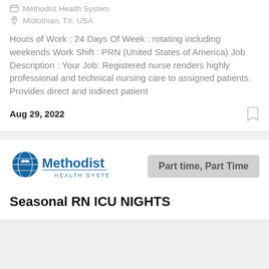Methodist Health System
Midlothian, TX, USA
Hours of Work : 24 Days Of Week : rotating including weekends Work Shift : PRN (United States of America) Job Description : Your Job: Registered nurse renders highly professional and technical nursing care to assigned patients. Provides direct and indirect patient
Aug 29, 2022
[Figure (logo): Methodist Health System logo]
Part time, Part Time
Seasonal RN ICU NIGHTS